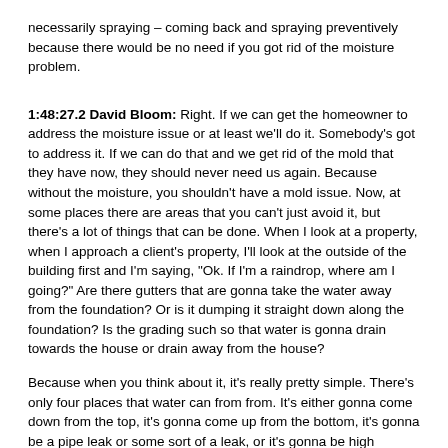necessarily spraying – coming back and spraying preventively because there would be no need if you got rid of the moisture problem.
1:48:27.2 David Bloom: Right. If we can get the homeowner to address the moisture issue or at least we'll do it. Somebody's got to address it. If we can do that and we get rid of the mold that they have now, they should never need us again. Because without the moisture, you shouldn't have a mold issue. Now, at some places there are areas that you can't just avoid it, but there's a lot of things that can be done. When I look at a property, when I approach a client's property, I'll look at the outside of the building first and I'm saying, "Ok. If I'm a raindrop, where am I going?" Are there gutters that are gonna take the water away from the foundation? Or is it dumping it straight down along the foundation? Is the grading such so that water is gonna drain towards the house or drain away from the house?
Because when you think about it, it's really pretty simple. There's only four places that water can from from. It's either gonna come down from the top, it's gonna come up from the bottom, it's gonna be a pipe leak or some sort of a leak, or it's gonna be high humidity. So when you break into those simple things and look at what you're dealing with, it's not that complicated. Sometimes you have buildings that have a convolution of factors. One in particular was in the clubhouse for an over 55 housing community and the exercise room – the pictures in the room started falling off the walls because they're are so wet. This was in Maryland, and what happened here was a